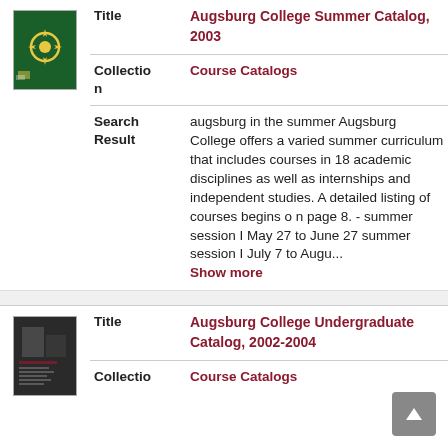[Figure (photo): Thumbnail of Augsburg College Summer Catalog 2003, dark green cover with sun graphic]
Title
Augsburg College Summer Catalog, 2003
Collection
Course Catalogs
Search Result
augsburg in the summer Augsburg College offers a varied summer curriculum that includes courses in 18 academic disciplines as well as internships and independent studies. A detailed listing of courses begins o n page 8. - summer session I May 27 to June 27 summer session I July 7 to Augu... Show more
[Figure (photo): Thumbnail of Augsburg College Undergraduate Catalog 2002-2004, dark cover with people]
Title
Augsburg College Undergraduate Catalog, 2002-2004
Collection
Course Catalogs